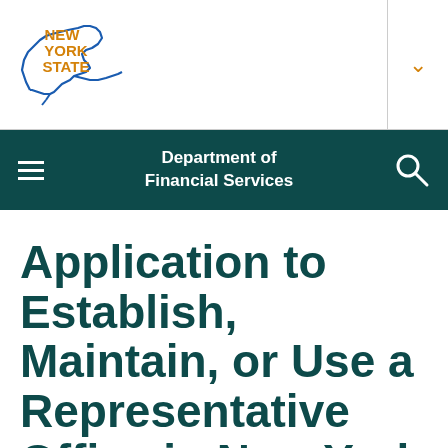[Figure (logo): New York State logo with outline map of New York state in blue and 'NEW YORK STATE' text in orange/gold]
Department of Financial Services
Application to Establish, Maintain, or Use a Representative Office in New York